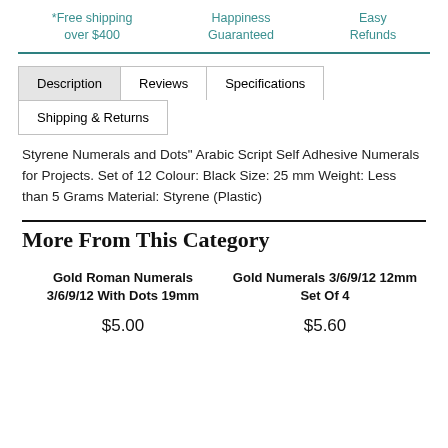*Free shipping over $400    Happiness Guaranteed    Easy Refunds
Description | Reviews | Specifications | Shipping & Returns
Styrene Numerals and Dots" Arabic Script Self Adhesive Numerals for Projects. Set of 12 Colour: Black Size: 25 mm Weight: Less than 5 Grams Material: Styrene (Plastic)
More From This Category
Gold Roman Numerals 3/6/9/12 With Dots 19mm
$5.00
Gold Numerals 3/6/9/12 12mm Set Of 4
$5.60